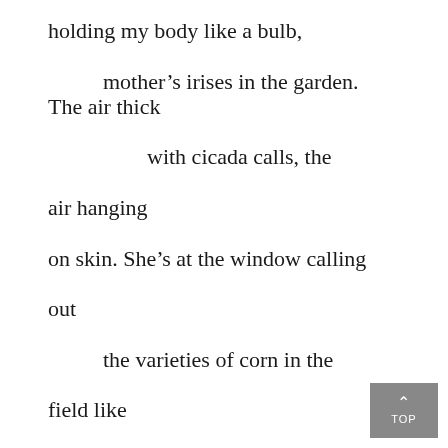holding my body like a bulb,

        mother’s irises in the garden.
The air thick

                    with cicada calls, the

air hanging

on skin. She’s at the window calling

out

        the varieties of corn in the

field like